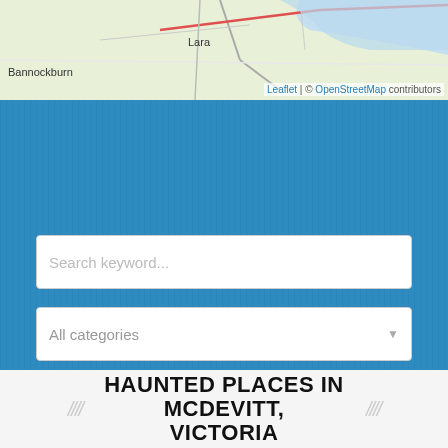[Figure (map): OpenStreetMap showing partial view of area around Bannockburn and Lara, Victoria, Australia, with road network and water features visible.]
Search keyword...
All categories
All locations
SEARCH
HAUNTED PLACES IN MCDEVITT, VICTORIA